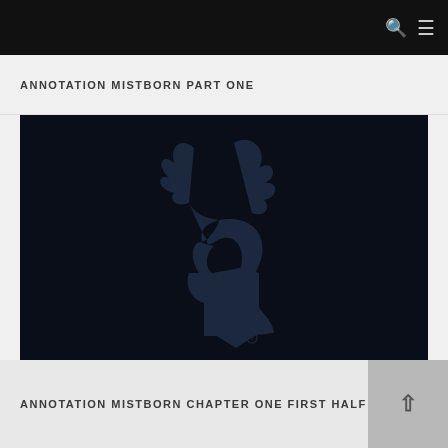Navigation bar with search and menu icons
ANNOTATION MISTBORN PART ONE
[Figure (logo): Dark navy/black background with a stylized dragon and S-shaped logo in dark blue tones, with a registered trademark symbol at the bottom]
ANNOTATION MISTBORN CHAPTER ONE FIRST HALF